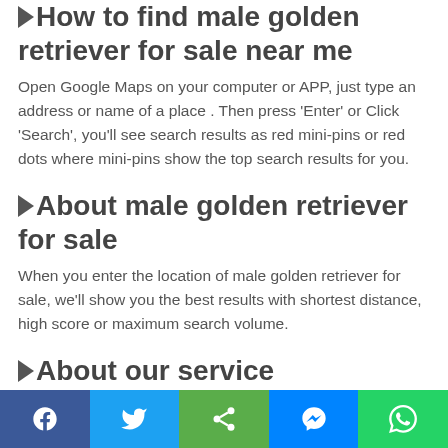▷How to find male golden retriever for sale near me
Open Google Maps on your computer or APP, just type an address or name of a place . Then press 'Enter' or Click 'Search', you'll see search results as red mini-pins or red dots where mini-pins show the top search results for you.
▷About male golden retriever for sale
When you enter the location of male golden retriever for sale, we'll show you the best results with shortest distance, high score or maximum search volume.
▷About our service
Find nearby male golden retriever for sale. Enter a location to find a nearby male golden retriever for sale. Enter ZIP code or city, state as well.